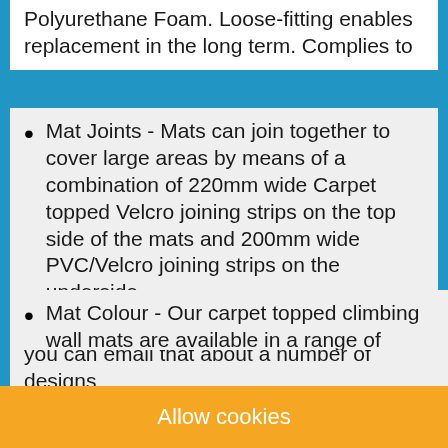Polyurethane Foam. Loose-fitting enables replacement in the long term. Complies to
Mat Joints - Mats can join together to cover large areas by means of a combination of 220mm wide Carpet topped Velcro joining strips on the top side of the mats and 200mm wide PVC/Velcro joining strips on the underside.
Mat Colour - Our carpet topped climbing wall mats are available in a range of standard carpet colours in Arnish. Bespoke colours are available on request. The standard PVC colour is blue but is also available in other colours on request. For more details regarding the various designs
you can email that about a number of designs